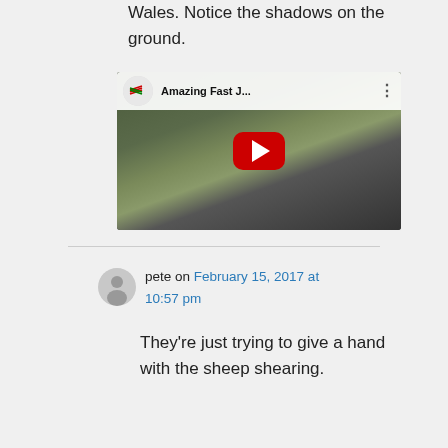Wales. Notice the shadows on the ground.
[Figure (screenshot): YouTube video embed thumbnail showing a fast jet flying low over Welsh terrain with hills in background. Title bar reads 'Amazing Fast J...' with a YouTube avatar icon. Large red YouTube play button in center.]
pete on February 15, 2017 at 10:57 pm
They're just trying to give a hand with the sheep shearing.